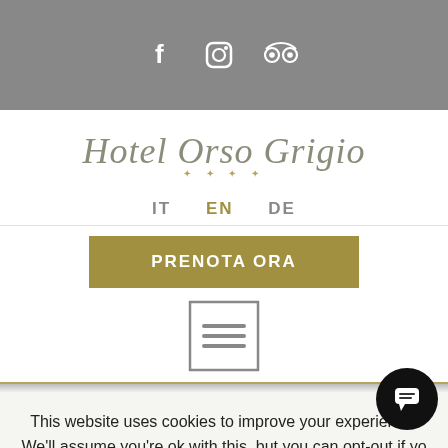[Figure (screenshot): Top gray navigation bar with Facebook, Instagram, and TripAdvisor social media icons in white]
Hotel Orso Grigio ****
IT  EN  DE
PRENOTA ORA
[Figure (screenshot): Hamburger menu icon inside a square border]
This website uses cookies to improve your experience. We'll assume you're ok with this, but you can opt-out if yo
ACCEPT  REFUSE  READ MORE